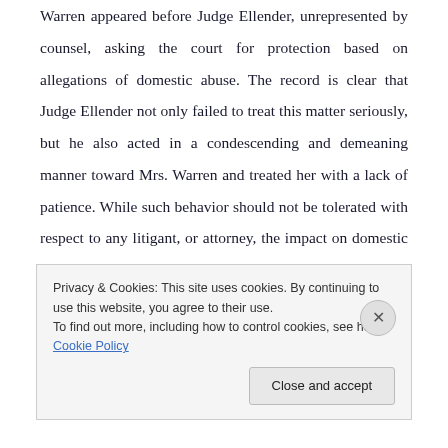Warren appeared before Judge Ellender, unrepresented by counsel, asking the court for protection based on allegations of domestic abuse. The record is clear that Judge Ellender not only failed to treat this matter seriously, but he also acted in a condescending and demeaning manner toward Mrs. Warren and treated her with a lack of patience. While such behavior should not be tolerated with respect to any litigant, or attorney, the impact on domestic abuse litigants, and others who allege a need for the court's protection, can be devastating.
Privacy & Cookies: This site uses cookies. By continuing to use this website, you agree to their use. To find out more, including how to control cookies, see here: Cookie Policy
Close and accept